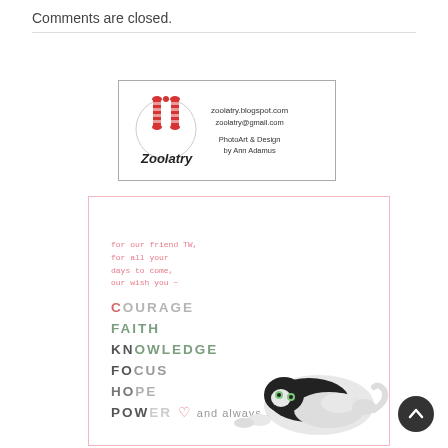Comments are closed.
[Figure (logo): Zoolatry logo with red striped legs graphic, text: zoolatry.blogspot.com, zoolatry@gmail.com, PhotoArt & Design by Ann Adamus]
[Figure (illustration): Inspirational card with pink border featuring a black and white cat lying down, text: for our friend TW, for all your days to come, our wish you ~ COURAGE FAITH KNOWLEDGE FOCUS HOPE POWER heart and always LOVE]